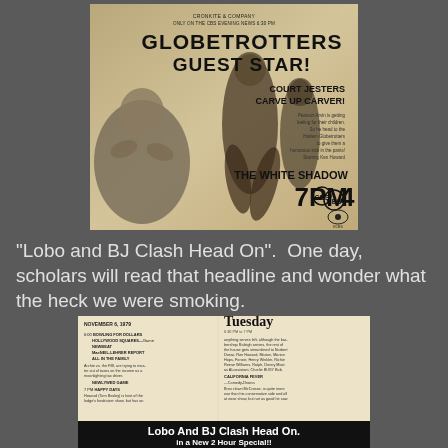[Figure (photo): Vintage TV advertisement for 'The White Shadow' featuring Globetrotters Guest Star episode. Shows text: CRONKITE & COMPANY / ONLY ON THE CBS EVENING NEWS 6:30 PM / GLOBETROTTERS GUEST STAR! / COURT JESTERS CARVE UP CARVER! / THE WHITE SHADOW / 7PM CBS 4. Features images of a man shouting with hands to mouth and basketball players.]
"Lobo and BJ Clash Head On".  One day, scholars will read that headline and wonder what the heck we were smoking.
[Figure (photo): Vintage TV schedule page showing Tuesday programming including listings for BOWLING FOR DOLLARS, HOLLYWOOD SQUARES Game, NEWBEAT, MacNEIL-LEHRER REPORT, ALL IN THE FAMILY, NEWLYWED GAME, HAPPY DAYS, and CALIFORNIA FEVER. Bottom banner reads: Lobo And BJ Clash Head On. in a New 2 Hour Special!!]